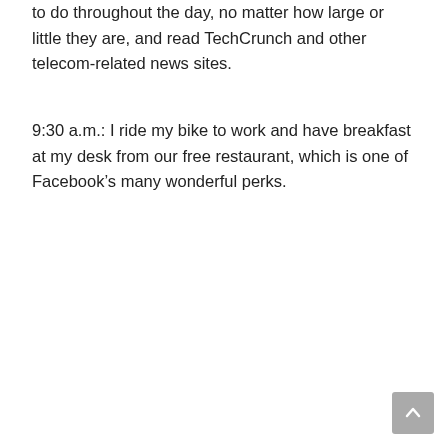to do throughout the day, no matter how large or little they are, and read TechCrunch and other telecom-related news sites.
9:30 a.m.: I ride my bike to work and have breakfast at my desk from our free restaurant, which is one of Facebook's many wonderful perks.